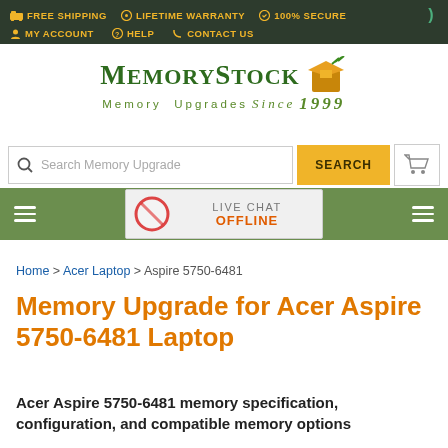FREE SHIPPING  LIFETIME WARRANTY  100% SECURE  MY ACCOUNT  HELP  CONTACT US
[Figure (logo): MemoryStock logo - Memory Upgrades Since 1999]
[Figure (screenshot): Search bar with 'Search Memory Upgrade' placeholder and yellow SEARCH button and cart icon]
[Figure (screenshot): Green navigation bar with hamburger menus and Live Chat OFFLINE widget]
Home > Acer Laptop > Aspire 5750-6481
Memory Upgrade for Acer Aspire 5750-6481 Laptop
Acer Aspire 5750-6481 memory specification, configuration, and compatible memory options